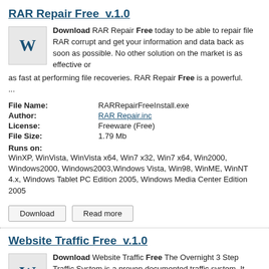RAR Repair Free  v.1.0
Download RAR Repair Free today to be able to repair file RAR corrupt and get your information and data back as soon as possible. No other solution on the market is as effective or as fast at performing file recoveries. RAR Repair Free is a powerful. ...
| File Name: | RARRepairFreeInstall.exe |
| Author: | RAR Repair.inc |
| License: | Freeware (Free) |
| File Size: | 1.79 Mb |
| Runs on: | WinXP, WinVista, WinVista x64, Win7 x32, Win7 x64, Win2000, Windows2000, Windows2003,Windows Vista, Win98, WinME, WinNT 4.x, Windows Tablet PC Edition 2005, Windows Media Center Edition 2005 |
Download   Read more
Website Traffic Free  v.1.0
Download Website Traffic Free The Overnight 3 Step Traffic System is a proven documented traffic system. It reveals on video how to get 1000's of Free One-Way backlinks in Google, Yahoo and MSN overnight.